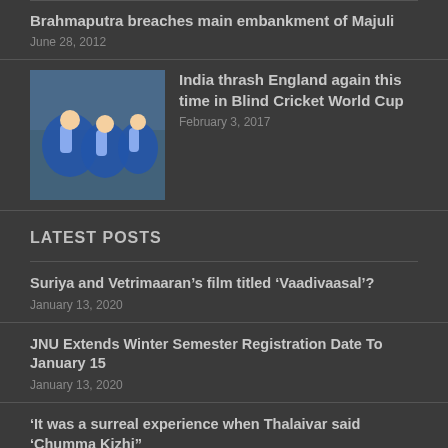Brahmaputra breaches main embankment of Majuli
June 28, 2012
India thrash England again this time in Blind Cricket World Cup
February 3, 2017
LATEST POSTS
Suriya and Vetrimaaran’s film titled ‘Vaadivaasal’?
January 13, 2020
JNU Extends Winter Semester Registration Date To January 15
January 13, 2020
‘It was a surreal experience when Thalaivar said ‘Chumma Kizhi”
January 9, 2020
US Lawmakers Divided, To Vote On...